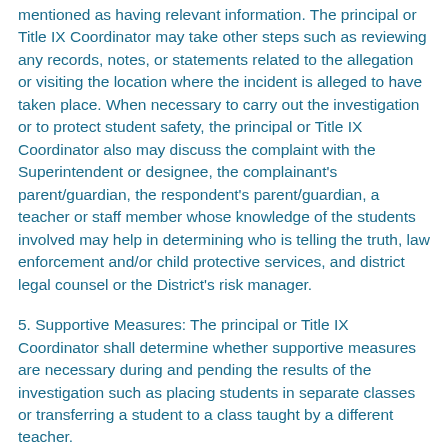mentioned as having relevant information. The principal or Title IX Coordinator may take other steps such as reviewing any records, notes, or statements related to the allegation or visiting the location where the incident is alleged to have taken place. When necessary to carry out the investigation or to protect student safety, the principal or Title IX Coordinator also may discuss the complaint with the Superintendent or designee, the complainant's parent/guardian, the respondent's parent/guardian, a teacher or staff member whose knowledge of the students involved may help in determining who is telling the truth, law enforcement and/or child protective services, and district legal counsel or the District's risk manager.
5. Supportive Measures: The principal or Title IX Coordinator shall determine whether supportive measures are necessary during and pending the results of the investigation such as placing students in separate classes or transferring a student to a class taught by a different teacher.
6. Optional Mediation:For student-on-student harassment, discrimination, or bullying, when complainant and